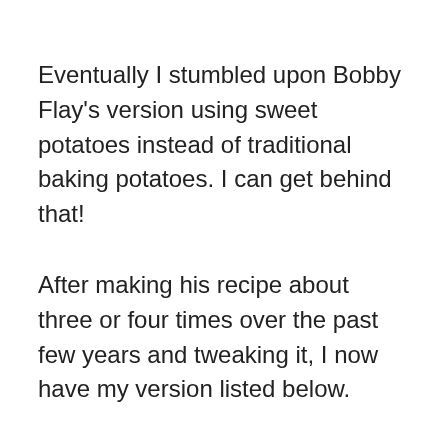Eventually I stumbled upon Bobby Flay's version using sweet potatoes instead of traditional baking potatoes. I can get behind that!
After making his recipe about three or four times over the past few years and tweaking it, I now have my version listed below.
In addition to adding corn, I skipped the step where he has you reduce the milk and cream before adding it to the chowder.